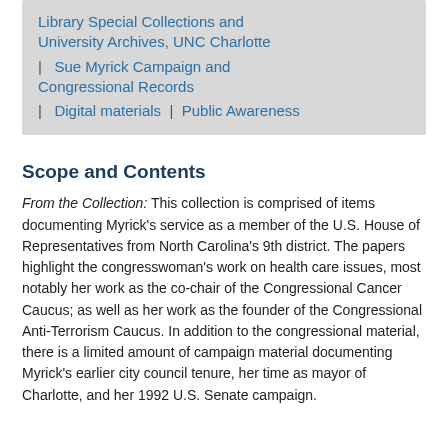Library Special Collections and University Archives, UNC Charlotte | Sue Myrick Campaign and Congressional Records | Digital materials | Public Awareness
Scope and Contents
From the Collection: This collection is comprised of items documenting Myrick's service as a member of the U.S. House of Representatives from North Carolina's 9th district. The papers highlight the congresswoman's work on health care issues, most notably her work as the co-chair of the Congressional Cancer Caucus; as well as her work as the founder of the Congressional Anti-Terrorism Caucus. In addition to the congressional material, there is a limited amount of campaign material documenting Myrick's earlier city council tenure, her time as mayor of Charlotte, and her 1992 U.S. Senate campaign.